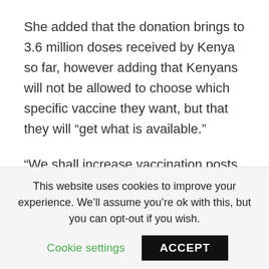She added that the donation brings to 3.6 million doses received by Kenya so far, however adding that Kenyans will not be allowed to choose which specific vaccine they want, but that they will “get what is available.”
“We shall increase vaccination posts from 800 to 3000 in counties. We have received freezers with the capacity for 3 million doses, we will be receiving 15 freezers from American firm UPS to receive the Pfizer vaccine,” said PS Mochache.
This website uses cookies to improve your experience. We’ll assume you’re ok with this, but you can opt-out if you wish.
Cookie settings  ACCEPT